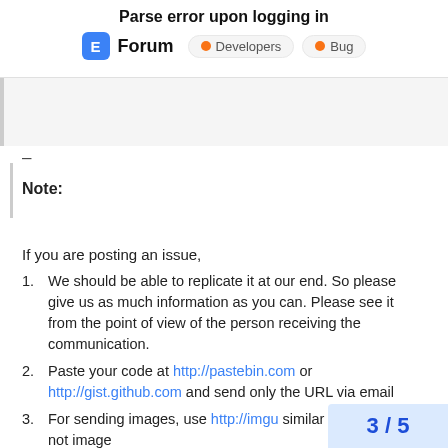Parse error upon logging in | Forum | Developers | Bug
[Figure (other): Blockquote/quoted content area (gray background with left border bar)]
–
Note:
If you are posting an issue,
We should be able to replicate it at our end. So please give us as much information as you can. Please see it from the point of view of the person receiving the communication.
Paste your code at http://pastebin.com or http://gist.github.com and send only the URL via email
For sending images, use http://imgu... similar services. Do not send image...
3 / 5